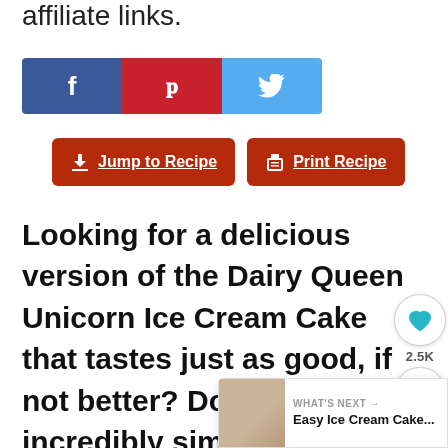affiliate links.
[Figure (other): Social share buttons: Facebook (blue), Pinterest (red), Twitter (light blue)]
[Figure (other): Two recipe buttons: 'Jump to Recipe' and 'Print Recipe' with icons, dark red background]
Looking for a delicious version of the Dairy Queen Unicorn Ice Cream Cake that tastes just as good, if not better? Don't miss this incredibly simple recipe and make your own Dairy Queen Unicorn Ice Cream Cake today!
[Figure (other): Side widget: heart/save icon with 2.5K count and share icon]
[Figure (other): What's Next panel with thumbnail image and text 'Easy Ice Cream Cake...']